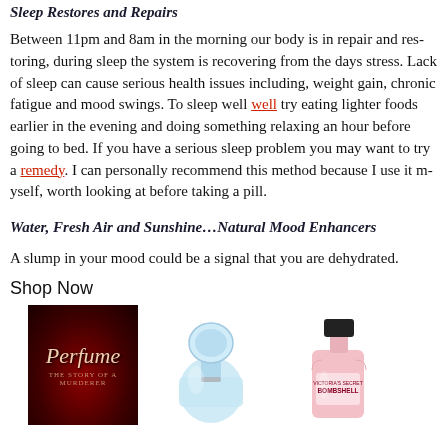Sleep Restores and Repairs
Between 11pm and 8am in the morning our body is in repair and res... sleep the system is recovering from the days stress. Lack of sleep ca... health issues including, weight gain, chronic fatigue and mood swin... well try eating lighter foods earlier in the evening and doing someth... an hour before going to bed. If you have a serious sleep problem yo... remedy. I can personally recommend this method because I use it m... looking at before taking a pill.
Water, Fresh Air and Sunshine…Natural Mood Enhancers
A slump in your mood could be a signal that you are dehydrated.
Shop Now
[Figure (photo): Perfume book cover - dark red rose background with italic script title 'Perfume' and subtitle 'THE STORY OF A MURDERER']
[Figure (photo): Light blue glass perfume bottle with round cap, silver accents]
[Figure (photo): Pink perfume bottle with black cap, Victoria's Secret Bombshell label]